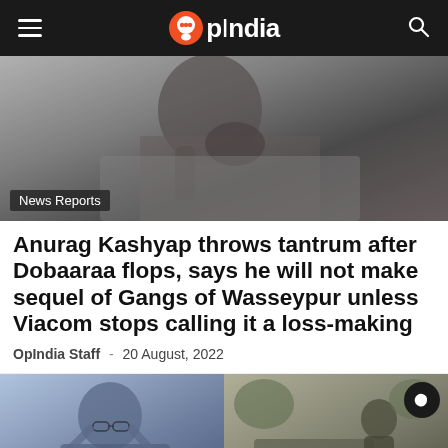OpIndia
[Figure (photo): A man (Anurag Kashyap) with his hand on his face, appearing distressed or contemplative, wearing a grey jacket over a dark shirt. 'News Reports' tag overlaid at bottom left.]
Anurag Kashyap throws tantrum after Dobaaraa flops, says he will not make sequel of Gangs of Wasseypur unless Viacom stops calling it a loss-making
OpIndia Staff - 20 August, 2022
[Figure (photo): Two images side by side: left shows a man with glasses leaning back with hands behind his head; right shows a person walking on a street near a car, with a dark mode button visible in top right corner.]